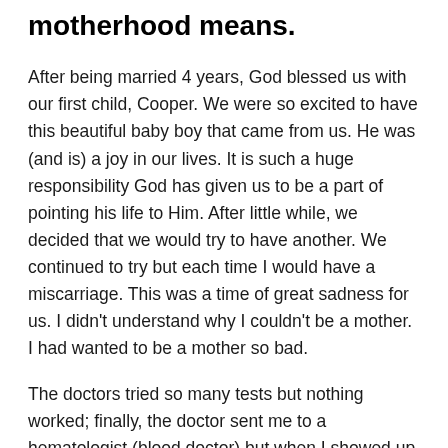motherhood means.
After being married 4 years, God blessed us with our first child, Cooper. We were so excited to have this beautiful baby boy that came from us. He was (and is) a joy in our lives. It is such a huge responsibility God has given us to be a part of pointing his life to Him. After little while, we decided that we would try to have another. We continued to try but each time I would have a miscarriage. This was a time of great sadness for us. I didn't understand why I couldn't be a mother. I had wanted to be a mother so bad.
The doctors tried so many tests but nothing worked; finally, the doctor sent me to a hematologist (blood doctor) but when I showed up to the building it was an oncology (cancer) center. I had Cooper, who was 2,